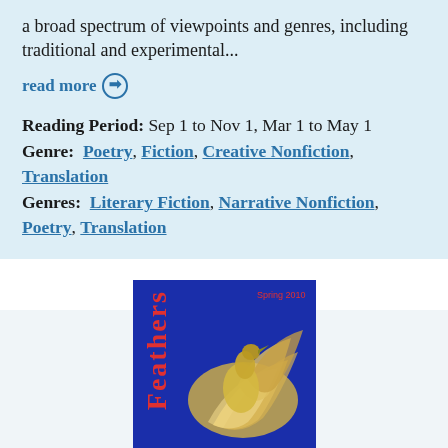a broad spectrum of viewpoints and genres, including traditional and experimental...
read more →
Reading Period:  Sep 1 to Nov 1, Mar 1 to May 1
Genre:   Poetry, Fiction, Creative Nonfiction, Translation
Genres:   Literary Fiction, Narrative Nonfiction, Poetry, Translation
[Figure (photo): Magazine cover of 'Feathers' Spring 2010, dark blue background with a bird illustration and red vertical title text]